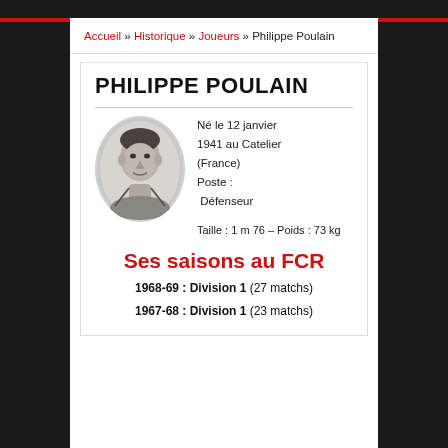Accueil » Historique » Joueurs » Philippe Poulain
PHILIPPE POULAIN
[Figure (photo): Oval black-and-white portrait photo of Philippe Poulain]
Né le 12 janvier 1941 au Catelier (France)
Poste : Défenseur
Taille : 1 m 76 – Poids : 73 kg
Ses saisons au FCR
1968-69 : Division 1 (27 matchs)
1967-68 : Division 1 (23 matchs)